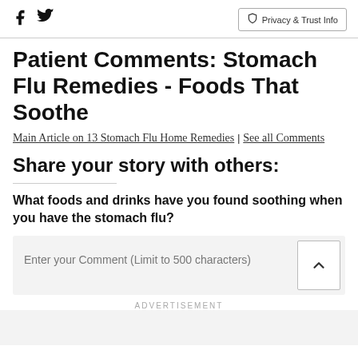Facebook icon | Twitter icon | Privacy & Trust Info
Patient Comments: Stomach Flu Remedies - Foods That Soothe
Main Article on 13 Stomach Flu Home Remedies | See all Comments
Share your story with others:
What foods and drinks have you found soothing when you have the stomach flu?
Enter your Comment (Limit to 500 characters)
ADVERTISEMENT